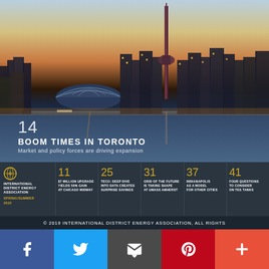[Figure (photo): Toronto city skyline at dusk with CN Tower and Rogers Centre (SkyDome) prominently visible, reflected in the water]
14
BOOM TIMES IN TORONTO
Market and policy forces are driving expansion
[Figure (logo): International District Energy Association logo with globe icon]
SPRING/SUMMER 2022
11
$7 MILLION UPGRADE YIELDS 50% GAIN AT CHICAGO MIDWAY
25
TECO: DEEP DIVE INTO DATA CREATES SURPRISE SAVINGS
31
GRID OF THE FUTURE IS TAKING SHAPE AT UMASS AMHERST
37
INDIANAPOLIS AS A MODEL FOR OTHER CITIES
41
FOUR QUESTIONS TO CONSIDER ON TES TANKS
© 2019 INTERNATIONAL DISTRICT ENERGY ASSOCIATION, ALL RIGHTS